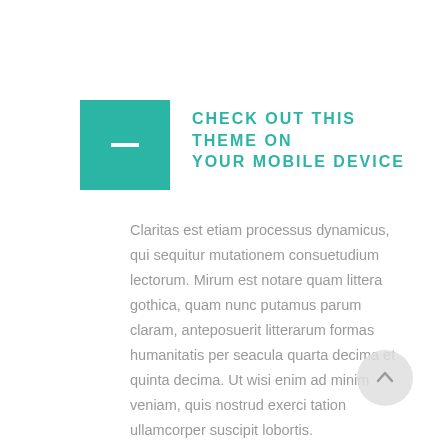CHECK OUT THIS THEME ON YOUR MOBILE DEVICE
Claritas est etiam processus dynamicus, qui sequitur mutationem consuetudium lectorum. Mirum est notare quam littera gothica, quam nunc putamus parum claram, anteposuerit litterarum formas humanitatis per seacula quarta decima et quinta decima. Ut wisi enim ad minim veniam, quis nostrud exerci tation ullamcorper suscipit lobortis.